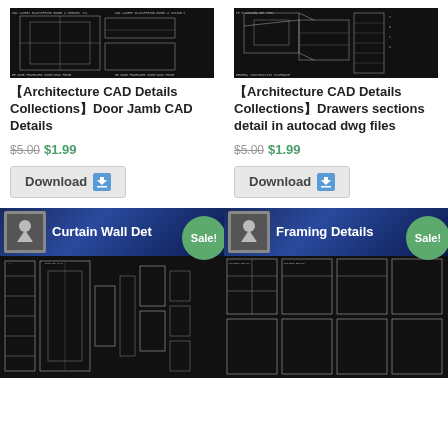[Figure (engineering-diagram): Dark background CAD drawing showing door jamb details with technical annotations]
【Architecture CAD Details Collections】Door Jamb CAD Details
$5.00 $1.99
Download
[Figure (engineering-diagram): Dark background CAD drawing showing drawers sections detail in isometric/3D view]
【Architecture CAD Details Collections】Drawers sections detail in autocad dwg files
$5.00 $1.99
Download
[Figure (engineering-diagram): Curtain Wall Details product banner with Sale badge and CAD drawings below]
[Figure (engineering-diagram): Framing Details product banner with Sale badge and CAD drawings below]